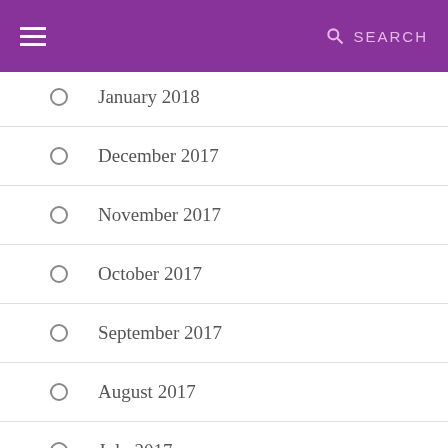≡  SEARCH
January 2018
December 2017
November 2017
October 2017
September 2017
August 2017
July 2017
June 2017
May 2017
April 2017